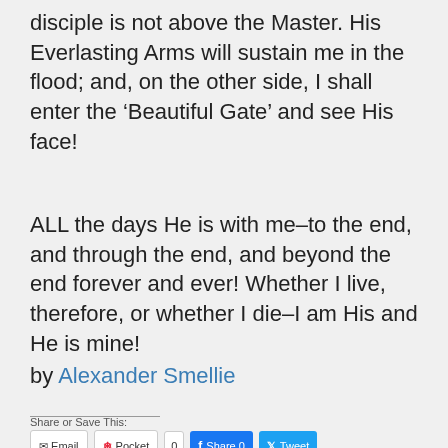disciple is not above the Master. His Everlasting Arms will sustain me in the flood; and, on the other side, I shall enter the 'Beautiful Gate' and see His face!
ALL the days He is with me–to the end, and through the end, and beyond the end forever and ever! Whether I live, therefore, or whether I die–I am His and He is mine!
by Alexander Smellie
Share or Save This: